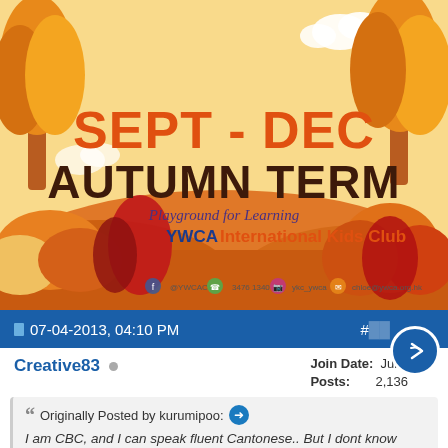[Figure (illustration): Autumn-themed illustration with orange and fall-colored trees, leaves, and hills. Text overlay reads 'SEPT - DEC AUTUMN TERM', 'Playground for Learning', 'YWCA International Kids Club'. Social media icons and contact info at bottom.]
07-04-2013, 04:10 PM  #[post number]
Creative83 ○  Join Date: Jun 2010  Posts: 2,136
Originally Posted by kurumipoo:
I am CBC, and I can speak fluent Cantonese.. But I dont know what's wrong with me.. lol Every time someones speaks to me in cantonese, It takes me longer to respond,